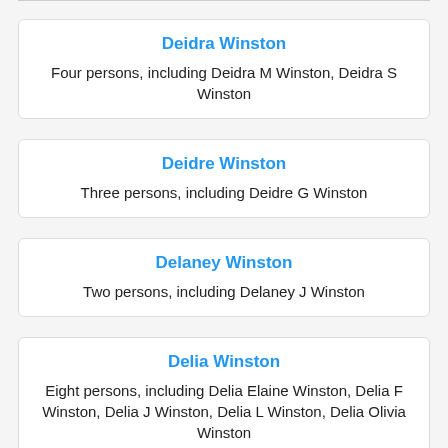Deidra Winston
Four persons, including Deidra M Winston, Deidra S Winston
Deidre Winston
Three persons, including Deidre G Winston
Delaney Winston
Two persons, including Delaney J Winston
Delia Winston
Eight persons, including Delia Elaine Winston, Delia F Winston, Delia J Winston, Delia L Winston, Delia Olivia Winston